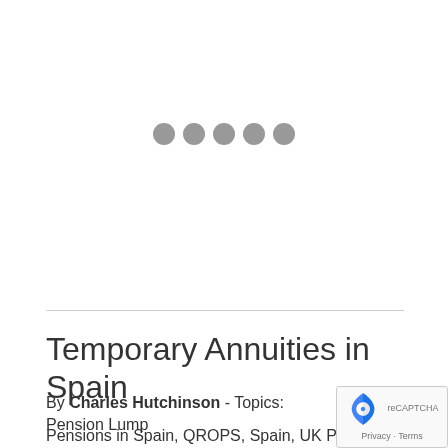[Figure (other): Loading spinner represented by five gray dots in a horizontal row]
Temporary Annuities in Spain
By Charles Hutchinson - Topics: Pension Lump
Pensions in Spain, QROPS, Spain, UK Pensions